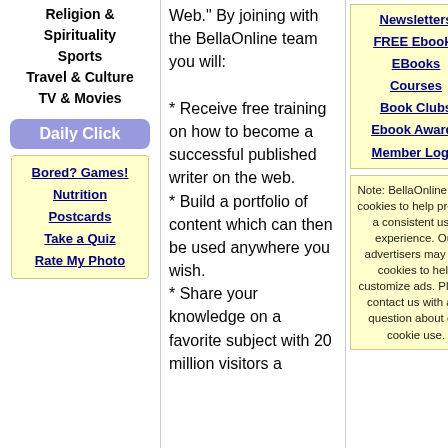Religion & Spirituality
Sports
Travel & Culture
TV & Movies
Daily Click
Bored? Games!
Nutrition
Postcards
Take a Quiz
Rate My Photo
Web." By joining with the BellaOnline team you will:
* Receive free training on how to become a successful published writer on the web.
* Build a portfolio of content which can then be used anywhere you wish.
* Share your knowledge on a favorite subject with 20 million visitors a
Newsletters
FREE Ebooks
EBooks
Courses
Book Clubs
Ebook Awards
Member Login
Note: BellaOnline uses cookies to help provide a consistent user experience. Our advertisers may use cookies to help customize ads. Please contact us with any question about our cookie use.